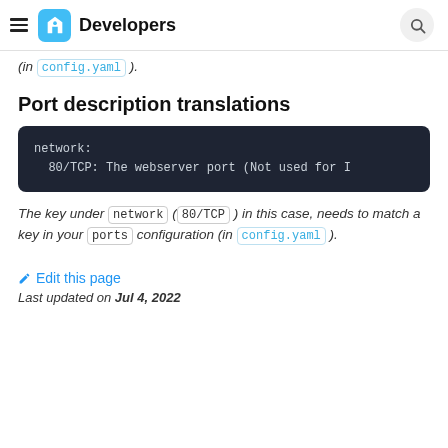Developers
(in config.yaml).
Port description translations
[Figure (screenshot): Dark code block showing: network:
  80/TCP: The webserver port (Not used for I]
The key under network (80/TCP) in this case, needs to match a key in your ports configuration (in config.yaml).
✏ Edit this page
Last updated on Jul 4, 2022